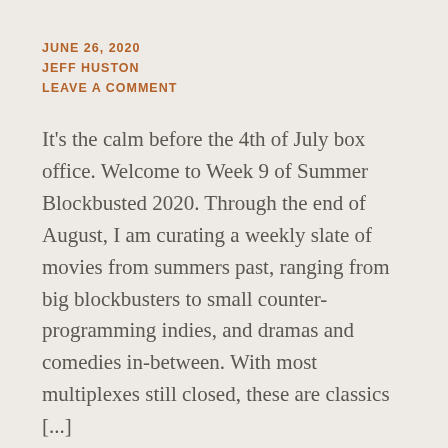JUNE 26, 2020
JEFF HUSTON
LEAVE A COMMENT
It's the calm before the 4th of July box office. Welcome to Week 9 of Summer Blockbusted 2020. Through the end of August, I am curating a weekly slate of movies from summers past, ranging from big blockbusters to small counter-programming indies, and dramas and comedies in-between. With most multiplexes still closed, these are classics [...]
Posted in Film Analysis, Film Fun, MOVIE REVIEWS, Summer Blockbusted 2020